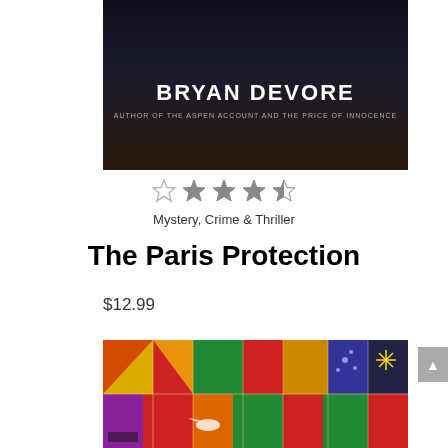[Figure (photo): Top portion of a book cover by Bryan Devore, dark background with stars/night sky, author name in white bold text, subtitle 'Author of The Aspen Account and The Price of Innocence' in grey italic text]
[Figure (other): Star rating showing approximately 3.5 out of 5 stars, with first star grey/empty outline and stars 2-4 filled gold/dark, 5th star half filled]
Mystery, Crime & Thriller
The Paris Protection
$12.99
[Figure (photo): Colorful patchwork quilt book cover, vibrant multicolored fabric patches in red, yellow, green, purple, blue and other colors stitched together, partial view of the bottom book cover]